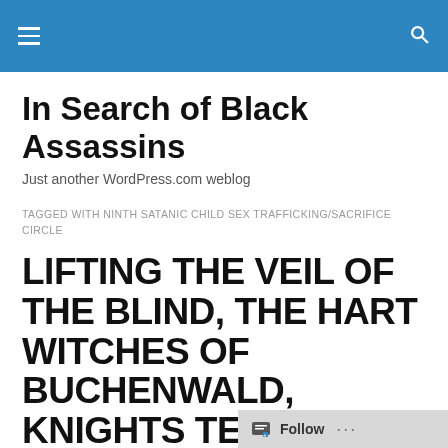In Search of Black Assassins — Just another WordPress.com weblog
In Search of Black Assassins
Just another WordPress.com weblog
TAGGED WITH NINTH SATANIC CHILD SEX TRAFFICKING/SACRIFICE CIRCLE
LIFTING THE VEIL OF THE BLIND, THE HART WITCHES OF BUCHENWALD, KNIGHTS TEMPLAR, NINTH SATANIC CIRCLE, CHILD TRA…